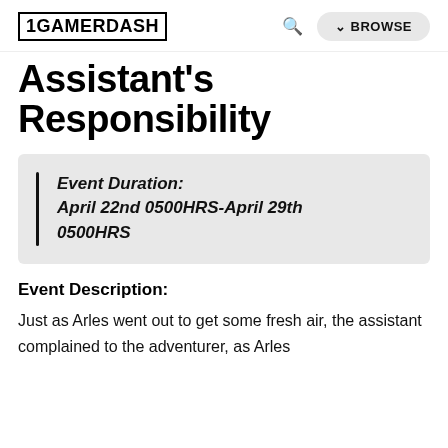1GAMERDASH | BROWSE
Assistant's Responsibility
Event Duration: April 22nd 0500HRS-April 29th 0500HRS
Event Description:
Just as Arles went out to get some fresh air, the assistant complained to the adventurer, as Arles always said, Assistant Boosted some difficulty...